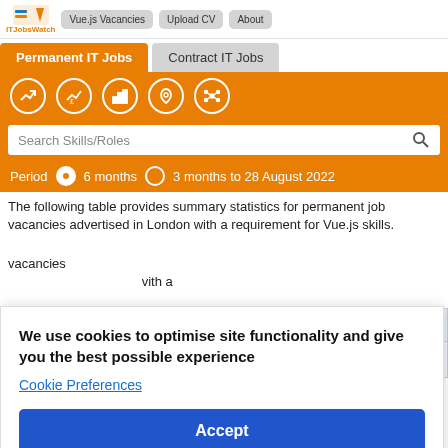ITJobsWatch | Vue.js Vacancies | Upload CV | About
Permanent IT Jobs | Contract IT Jobs
Search Skills/Roles
Period  6 months  3 months to 28 August 2022
The following table provides summary statistics for permanent job vacancies advertised in London with a requirement for Vue.js skills.
| Same period 2020 |
| --- |
| 96 |
We use cookies to optimise site functionality and give you the best possible experience
Cookie Preferences
Accept